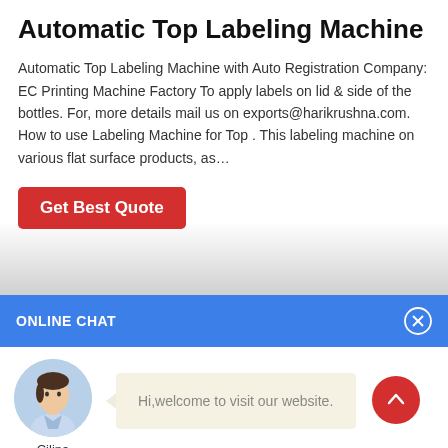Automatic Top Labeling Machine
Automatic Top Labeling Machine with Auto Registration Company: EC Printing Machine Factory To apply labels on lid & side of the bottles. For, more details mail us on exports@harikrushna.com. How to use Labeling Machine for Top . This labeling machine on various flat surface products, as…
Get Best Quote
ONLINE CHAT
[Figure (photo): Avatar photo of a woman named Cilina, shown in a circular crop]
Cilina
Hi,welcome to visit our website.